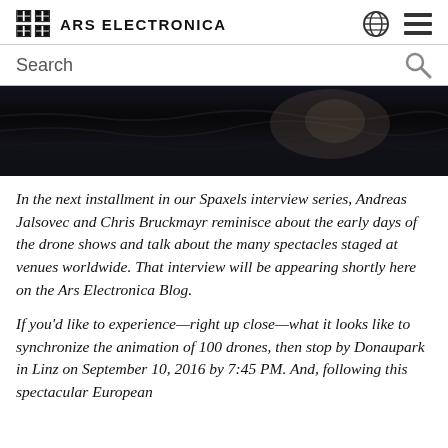ARS ELECTRONICA
[Figure (screenshot): Ars Electronica website header with logo, globe icon, and hamburger menu icon, plus search bar with magnifying glass icon]
[Figure (photo): Dark/black atmospheric hero image, likely a drone show or night sky scene]
In the next installment in our Spaxels interview series, Andreas Jalsovec and Chris Bruckmayr reminisce about the early days of the drone shows and talk about the many spectacles staged at venues worldwide. That interview will be appearing shortly here on the Ars Electronica Blog.
If you'd like to experience—right up close—what it looks like to synchronize the animation of 100 drones, then stop by Donaupark in Linz on September 10, 2016 by 7:45 PM. And, following this spectacular European